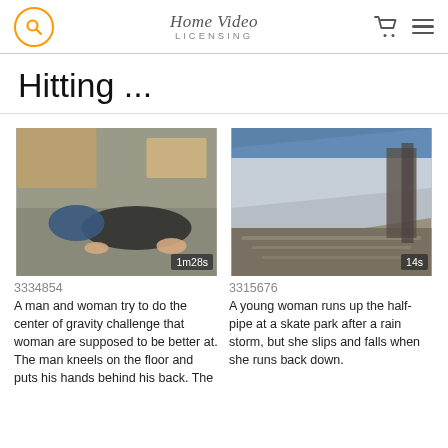Home Video LICENSING
Hitting ...
[Figure (screenshot): Video thumbnail showing a man and woman attempting the center of gravity challenge indoors, with a duration badge showing 1m28s]
3334854
A man and woman try to do the center of gravity challenge that woman are supposed to be better at. The man kneels on the floor and puts his hands behind his back. The
[Figure (screenshot): Video thumbnail showing a wet skate park half-pipe after rain, with a duration badge showing 14s]
3315676
A young woman runs up the half-pipe at a skate park after a rain storm, but she slips and falls when she runs back down.